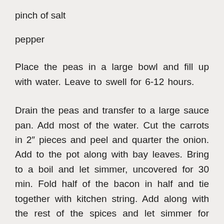pinch of salt
pepper
Place the peas in a large bowl and fill up with water. Leave to swell for 6-12 hours.
Drain the peas and transfer to a large sauce pan. Add most of the water. Cut the carrots in 2″ pieces and peel and quarter the onion. Add to the pot along with bay leaves. Bring to a boil and let simmer, uncovered for 30 min. Fold half of the bacon in half and tie together with kitchen string. Add along with the rest of the spices and let simmer for another 30 min. Stir once in a while and add water as needed. Remove the bacon and set aside. Let the soup cook until the peas are soft and starting to